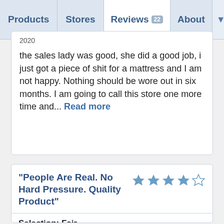Products | Stores | Reviews 22 | About
2020
the sales lady was good, she did a good job, i just got a piece of shit for a mattress and I am not happy. Nothing should be wore out in six months. I am going to call this store one more time and... Read more
“People Are Real. No Hard Pressure. Quality Product”
[Figure (other): 4 out of 5 stars rating]
Selection: Fair
Expertise: Good
Service: Good